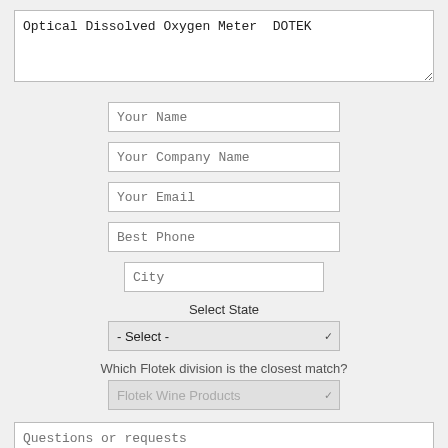Optical Dissolved Oxygen Meter  DOTEK
Your Name
Your Company Name
Your Email
Best Phone
City
Select State
- Select -
Which Flotek division is the closest match?
Flotek Wine Products
Questions or requests